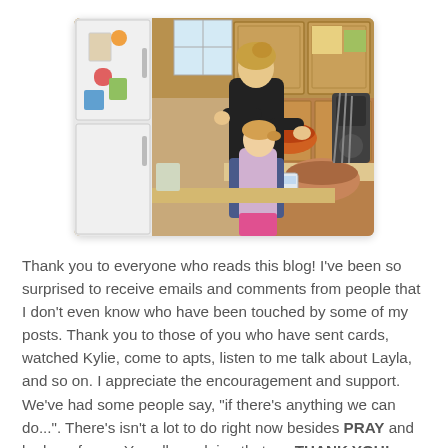[Figure (photo): A woman in a black top and a young girl in a pink outfit standing at a kitchen counter. The woman is holding an orange bowl near a stand mixer. A large wooden bowl and a small container are on the counter. Kitchen cabinets and a refrigerator are visible in the background.]
Thank you to everyone who reads this blog! I've been so surprised to receive emails and comments from people that I don't even know who have been touched by some of my posts. Thank you to those of you who have sent cards, watched Kylie, come to apts, listen to me talk about Layla, and so on. I appreciate the encouragement and support. We've had some people say, "if there's anything we can do...". There's isn't a lot to do right now besides PRAY and be here for us. You all are doing that, so THANK YOU!